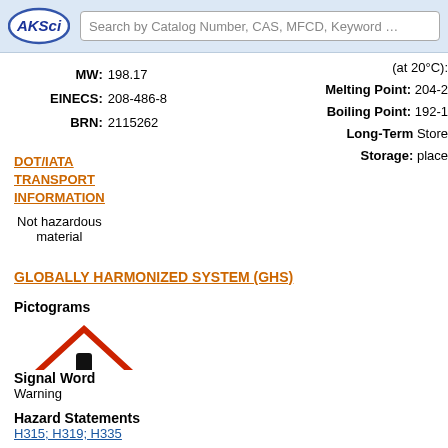AKSci | Search by Catalog Number, CAS, MFCD, Keyword …
MW: 198.17
EINECS: 208-486-8
BRN: 2115262
(at 20°C):
Melting Point: 204-2
Boiling Point: 192-1
Long-Term Storage: Store place
DOT/IATA TRANSPORT INFORMATION
Not hazardous material
GLOBALLY HARMONIZED SYSTEM (GHS)
Pictograms
[Figure (illustration): GHS exclamation mark pictogram — red diamond border with black exclamation mark inside]
Signal Word
Warning
Hazard Statements
H315; H319; H335